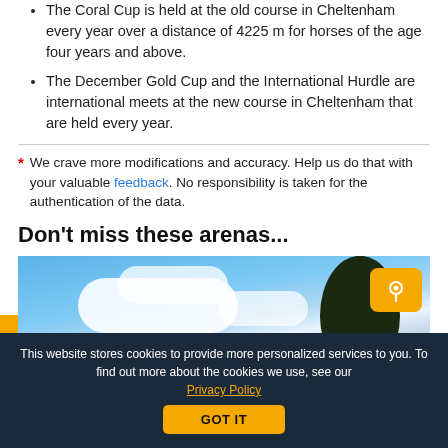The Coral Cup is held at the old course in Cheltenham every year over a distance of 4225 m for horses of the age four years and above.
The December Gold Cup and the International Hurdle are international meets at the new course in Cheltenham that are held every year.
* We crave more modifications and accuracy. Help us do that with your valuable feedback. No responsibility is taken for the authentication of the data.
Don't miss these arenas...
[Figure (photo): Outdoor stadium or arena with blue sky, white clouds, and a tree silhouette in the background. An orange location pin button and a white up-arrow button are overlaid on the image.]
This website stores cookies to provide more personalized services to you. To find out more about the cookies we use, see our Privacy Policy
GOT IT